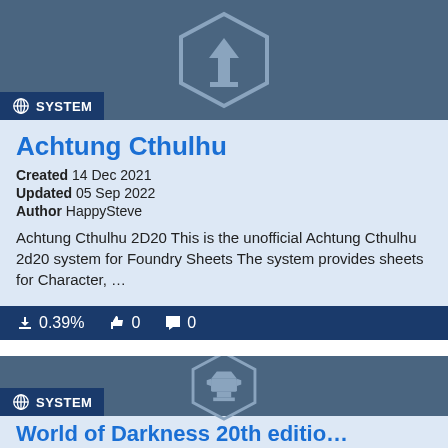[Figure (illustration): Game system card image with a shield/hexagon emblem on a blue-gray background, showing an upward arrow icon. Badge label: SYSTEM]
Achtung Cthulhu
Created 14 Dec 2021
Updated 05 Sep 2022
Author HappySteve
Achtung Cthulhu 2D20 This is the unofficial Achtung Cthulhu 2d20 system for Foundry Sheets The system provides sheets for Character, …
0.39%  0  0
[Figure (illustration): Game system card image with an anvil/forge hexagon emblem on a blue-gray background. Badge label: SYSTEM]
World of Darkness 20th editio…